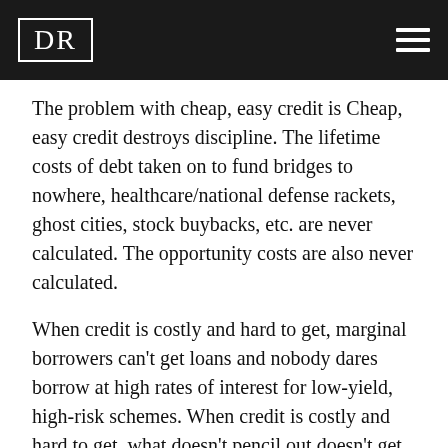DR
The problem with cheap, easy credit is Cheap, easy credit destroys discipline. The lifetime costs of debt taken on to fund bridges to nowhere, healthcare/national defense rackets, ghost cities, stock buybacks, etc. are never calculated. The opportunity costs are also never calculated.
When credit is costly and hard to get, marginal borrowers can't get loans and nobody dares borrow at high rates of interest for low-yield, high-risk schemes. When credit is costly and hard to get, what doesn't pencil out doesn't get funded.
When credit is cheap and easy to get, every scheme and racket gets funding because hey, why not? The